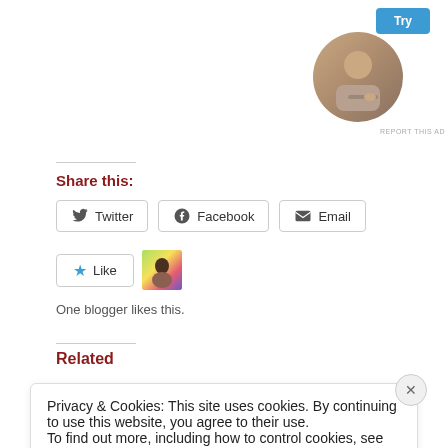[Figure (photo): Circular cropped photo of a person writing/working at a desk, wearing a beige top]
REPORT THIS AD
Share this:
Twitter
Facebook
Email
Like
[Figure (photo): Small avatar thumbnail of a blogger with colorful background]
One blogger likes this.
Related
Privacy & Cookies: This site uses cookies. By continuing to use this website, you agree to their use.
To find out more, including how to control cookies, see here:
Cookie Policy
Close and accept